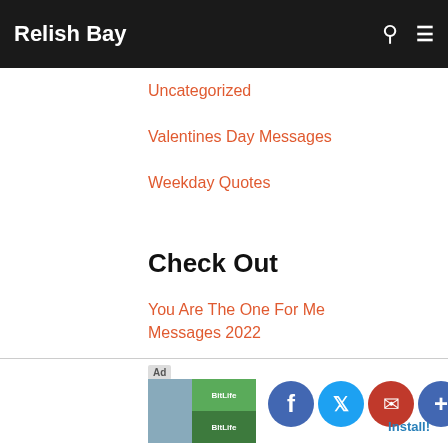Relish Bay
Uncategorized
Valentines Day Messages
Weekday Quotes
Check Out
You Are The One For Me Messages 2022
I Promise To Stand By Your Side Quotes and Messages 2022
[Figure (screenshot): Ad banner at bottom of page showing a mobile app advertisement with social share buttons (Facebook, Twitter, Email, Plus) and an Install! button]